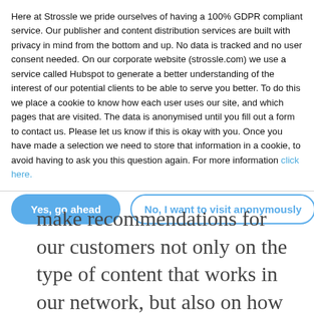Here at Strossle we pride ourselves of having a 100% GDPR compliant service. Our publisher and content distribution services are built with privacy in mind from the bottom and up. No data is tracked and no user consent needed. On our corporate website (strossle.com) we use a service called Hubspot to generate a better understanding of the interest of our potential clients to be able to serve you better. To do this we place a cookie to know how each user uses our site, and which pages that are visited. The data is anonymised until you fill out a form to contact us. Please let us know if this is okay with you. Once you have made a selection we need to store that information in a cookie, to avoid having to ask you this question again. For more information click here.
Yes, go ahead
No, I want to visit anonymously
make recommendations for our customers not only on the type of content that works in our network, but also on how to format ads with the headlines and images that drive the most traffic.